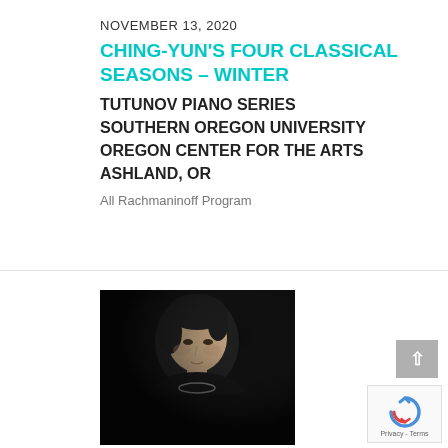NOVEMBER 13, 2020
CHING-YUN'S FOUR CLASSICAL SEASONS – WINTER
TUTUNOV PIANO SERIES
SOUTHERN OREGON UNIVERSITY
OREGON CENTER FOR THE ARTS
ASHLAND, OR
All Rachmaninoff Program
[Figure (photo): Portrait photograph of a pianist (Ching-Yun Hu) in a black sleeveless top with a decorative neckline, against a dark background, looking slightly downward.]